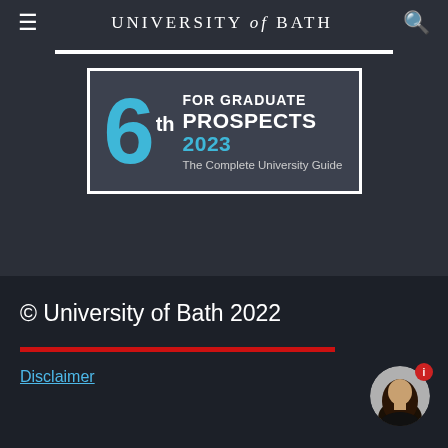UNIVERSITY of BATH
[Figure (infographic): Badge graphic: '6th FOR GRADUATE PROSPECTS 2023 - The Complete University Guide' on dark background with white border]
© University of Bath 2022
Disclaimer